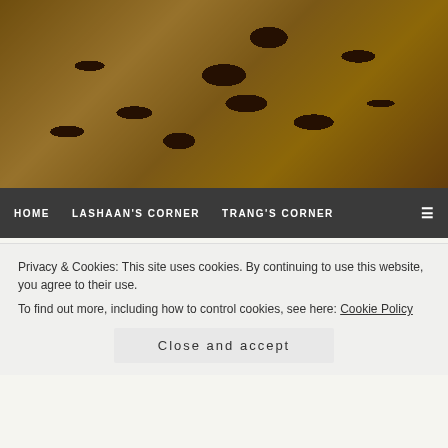[Figure (photo): Coffee beans spilling from a burlap sack on a burlap surface, header image for a blog]
HOME  LASHAAN'S CORNER  TRANG'S CORNER
FEBRUARY 3, 2016 BY LASHAAN BALASINGAM @ ROARS AND ECHOES
Batman Arkham Asylum – A Serious…
Privacy & Cookies: This site uses cookies. By continuing to use this website, you agree to their use.
To find out more, including how to control cookies, see here: Cookie Policy
Close and accept